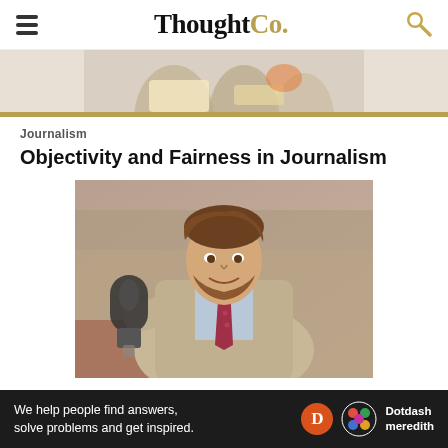ThoughtCo.
[Figure (photo): Partial photo of people at a table, top cropped image.]
Journalism
Objectivity and Fairness in Journalism
[Figure (photo): A young male journalist holding a microphone toward the camera, wearing a beige trench coat and red polka-dot tie, with a blurred city street background.]
Ad
We help people find answers, solve problems and get inspired. Dotdash meredith